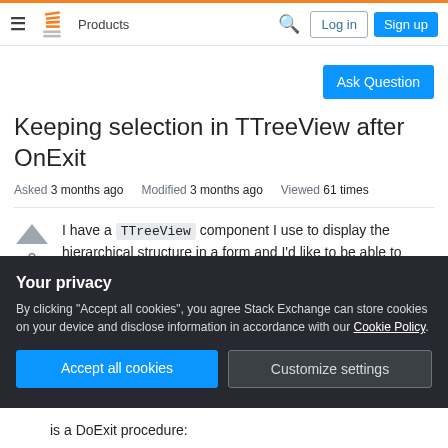≡  [Stack Overflow logo]  Products  🔍  Log in  Sign up
Ask Question
Keeping selection in TTreeView after OnExit
Asked 3 months ago  Modified 3 months ago  Viewed 61 times
I have a TTreeView component I use to display the hierarchical structure in a form and I'd like to be able to select some components and "manipulate" them...
Your privacy
By clicking "Accept all cookies", you agree Stack Exchange can store cookies on your device and disclose information in accordance with our Cookie Policy.
Accept all cookies   Customize settings
is a DoExit procedure: